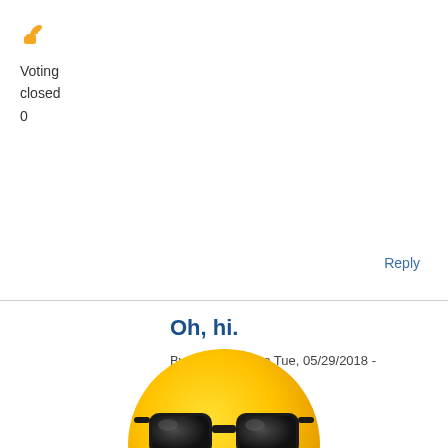[Figure (illustration): Thumbs up emoji icon in orange/yellow color]
Voting
closed
0
Reply
Oh, hi.
By dmcboston on Tue, 05/29/2018 - 10:55am.
[Figure (illustration): Cool face emoji with sunglasses, large yellow smiley face wearing black sunglasses]